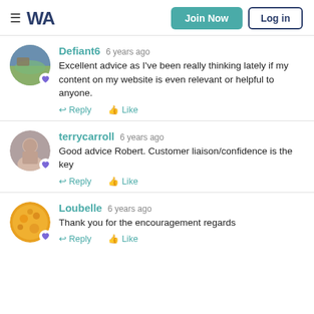WA — Join Now | Log in
Defiant6 6 years ago — Excellent advice as I've been really thinking lately if my content on my website is even relevant or helpful to anyone. Reply | Like
terrycarroll 6 years ago — Good advice Robert. Customer liaison/confidence is the key Reply | Like
Loubelle 6 years ago — Thank you for the encouragement regards Reply | Like